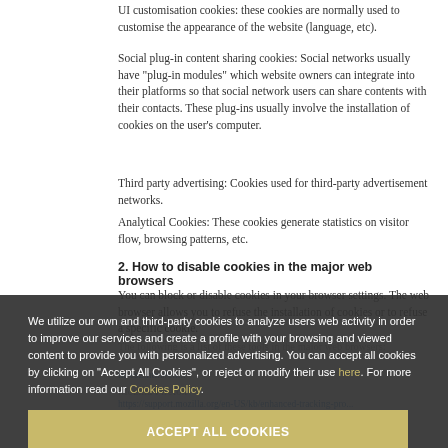UI customisation cookies: these cookies are normally used to customise the appearance of the website (language, etc).
Social plug-in content sharing cookies: Social networks usually have "plug-in modules" which website owners can integrate into their platforms so that social network users can share contents with their contacts. These plug-ins usually involve the installation of cookies on the user's computer.
Third party advertising: Cookies used for third-party advertisement networks.
Analytical Cookies: These cookies generate statistics on visitor flow, browsing patterns, etc.
2. How to disable cookies in the major web browsers
You can block or disable cookies in your browser settings. The web browser allows you to refuse the installation of cookies or to refuse a specific cookie.
The following is a list of these tools in the major web browsers:
We utilize our own and third-party cookies to analyze users web activity in order to improve our services and create a profile with your browsing and viewed content to provide you with personalized advertising. You can accept all cookies by clicking on "Accept All Cookies", or reject or modify their use here. For more information read our Cookies Policy.
ACCEPT ALL COOKIES